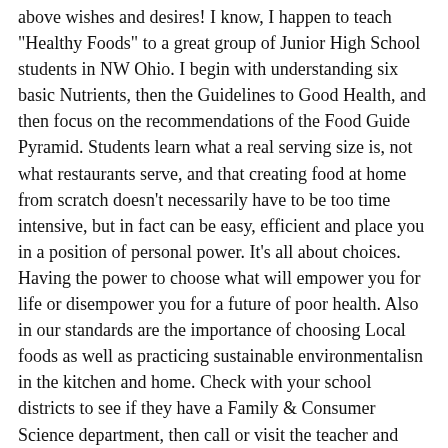above wishes and desires! I know, I happen to teach "Healthy Foods" to a great group of Junior High School students in NW Ohio. I begin with understanding six basic Nutrients, then the Guidelines to Good Health, and then focus on the recommendations of the Food Guide Pyramid. Students learn what a real serving size is, not what restaurants serve, and that creating food at home from scratch doesn't necessarily have to be too time intensive, but in fact can be easy, efficient and place you in a position of personal power. It's all about choices. Having the power to choose what will empower you for life or disempower you for a future of poor health. Also in our standards are the importance of choosing Local foods as well as practicing sustainable environmentalisn in the kitchen and home. Check with your school districts to see if they have a Family & Consumer Science department, then call or visit the teacher and offer her your support. She'll be grateful. My studetns love it when I have speakers from our local community share theri expertise.